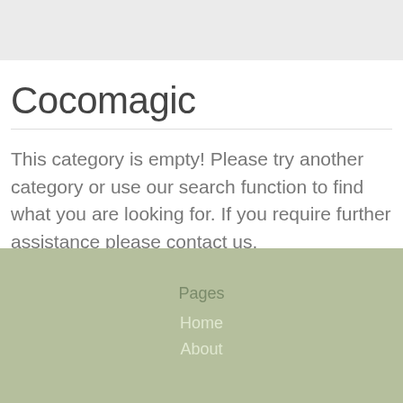Cocomagic
This category is empty! Please try another category or use our search function to find what you are looking for. If you require further assistance please contact us.
Pages
Home
About